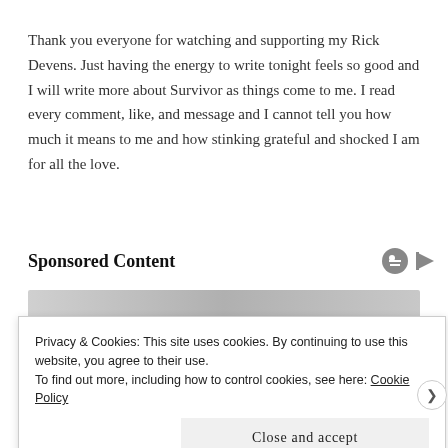Thank you everyone for watching and supporting my Rick Devens. Just having the energy to write tonight feels so good and I will write more about Survivor as things come to me. I read every comment, like, and message and I cannot tell you how much it means to me and how stinking grateful and shocked I am for all the love.
Sponsored Content
[Figure (other): Advertisement image placeholder with grey gradient background]
Privacy & Cookies: This site uses cookies. By continuing to use this website, you agree to their use. To find out more, including how to control cookies, see here: Cookie Policy
Close and accept